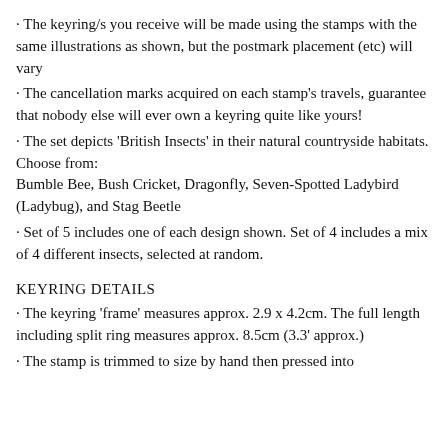The keyring/s you receive will be made using the stamps with the same illustrations as shown, but the postmark placement (etc) will vary
The cancellation marks acquired on each stamp's travels, guarantee that nobody else will ever own a keyring quite like yours!
The set depicts 'British Insects' in their natural countryside habitats. Choose from: Bumble Bee, Bush Cricket, Dragonfly, Seven-Spotted Ladybird (Ladybug), and Stag Beetle
Set of 5 includes one of each design shown. Set of 4 includes a mix of 4 different insects, selected at random.
KEYRING DETAILS
The keyring 'frame' measures approx. 2.9 x 4.2cm. The full length including split ring measures approx. 8.5cm (3.3' approx.)
The stamp is trimmed to size by hand then pressed into